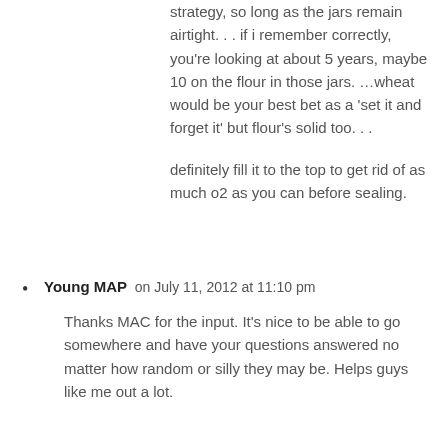strategy, so long as the jars remain airtight. . . if i remember correctly, you're looking at about 5 years, maybe 10 on the flour in those jars. … wheat would be your best bet as a 'set it and forget it' but flour's solid too. . .
definitely fill it to the top to get rid of as much o2 as you can before sealing.
Young MAP on July 11, 2012 at 11:10 pm
Thanks MAC for the input. It's nice to be able to go somewhere and have your questions answered no matter how random or silly they may be. Helps guys like me out a lot.